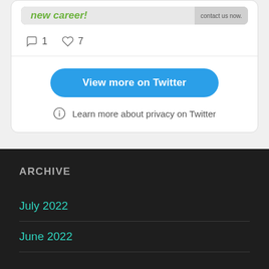[Figure (screenshot): Twitter/social media embed card showing an image banner with green text 'new career!' and grey area with 'contact us now.' text, with 1 comment and 7 likes icons below.]
1  7
View more on Twitter
Learn more about privacy on Twitter
ARCHIVE
July 2022
June 2022